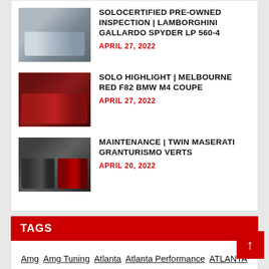SOLOCERTIFIED PRE-OWNED INSPECTION | LAMBORGHINI GALLARDO SPYDER LP 560-4 — APRIL 27, 2022
SOLO HIGHLIGHT | MELBOURNE RED F82 BMW M4 COUPE — APRIL 27, 2022
MAINTENANCE | TWIN MASERATI GRANTURISMO VERTS — APRIL 20, 2022
TAGS
Amg  Amg Tuning  Atlanta  Atlanta Performance  ATLANTA TUNING  Audi  Audi Atlanta  Audi Dyno  Audi S4  Audi Service